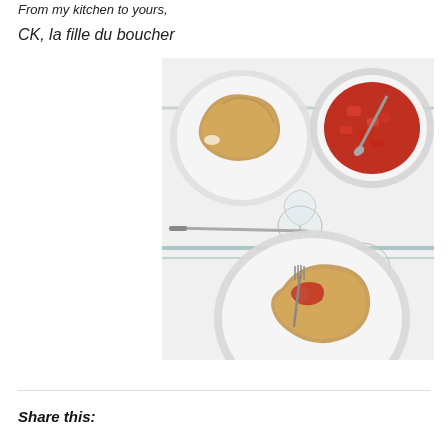From my kitchen to yours,
CK, la fille du boucher
[Figure (photo): Overhead view of a dining table with a white tablecloth with blue stripes. Top left: a white plate with a golden pastry/calzone. Center: a clear wine glass. Top right: a white bowl of red tomato sauce with a spoon. Bottom: a white plate with a partially eaten pastry served with red tomato sauce and a fork.]
Share this: